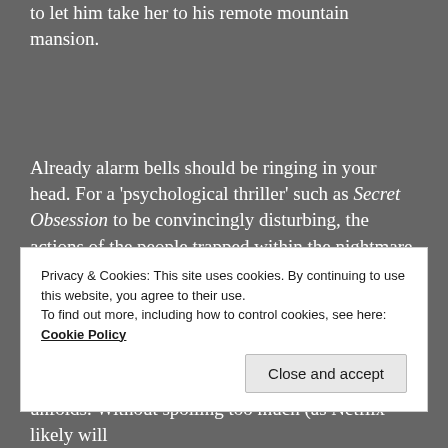to let him take her to his remote mountain mansion.
Already alarm bells should be ringing in your head. For a 'psychological thriller' such as Secret Obsession to be convincingly disturbing, the actions of the people trapped within the nightmare must be understandable, if not entirely justifiable. Brenda Song allows lead character Jennifer to be both panic-stricken and resourceful, and while Mike Vogel is sometimes a little awkward in his
Privacy & Cookies: This site uses cookies. By continuing to use this website, you agree to their use.
To find out more, including how to control cookies, see here: Cookie Policy
unfolds. Without spoiling too much (as Netflix likely will